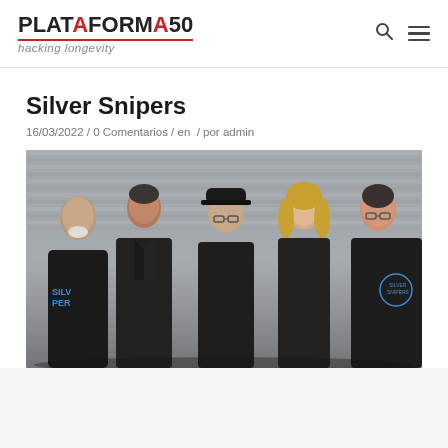PLATAFORMA50 hacking longevity
Silver Snipers
16/03/2022 / 0 Comentarios / en / por admin
[Figure (photo): Group photo of five older adults wearing black Silver Snipers jackets and t-shirts, posed in front of a corrugated metal background]